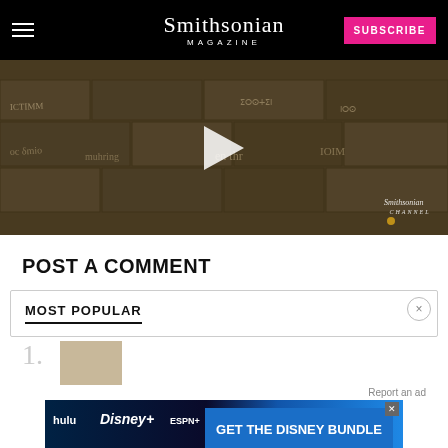Smithsonian MAGAZINE — SUBSCRIBE
[Figure (screenshot): Video thumbnail showing ancient stone wall with carved inscriptions and graffiti. A white triangular play button overlay is centered. Smithsonian Channel watermark at bottom right.]
POST A COMMENT
MOST POPULAR
Report an ad
[Figure (screenshot): Disney Bundle advertisement banner featuring Hulu, Disney+, and ESPN+ logos with 'GET THE DISNEY BUNDLE' call-to-action button. Fine print: Incl. Hulu (ad-supported) or Hulu (No Ads). Access content from each service separately. ©2021 Disney and its related entities]
1. [thumbnail image]